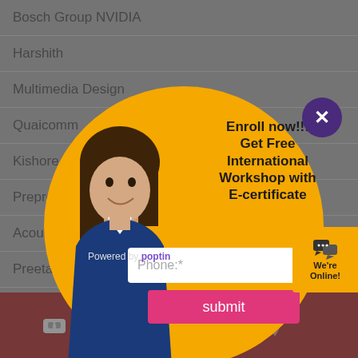Bosch Group NVIDIA
Harshith
Multimedia Design
Quaicomm
Kishore
Preprod
Acousti
Preetam
Recording, L
Apply Cup Hiring S
Vijith
[Figure (infographic): Popup modal with orange circular background, woman in professional attire on left side, bold text reading 'Enroll now!!! Get Free International Workshop with E-certificate', phone input field, and pink submit button. Purple close button at top right.]
Enroll now!!! Get Free International Workshop with E-certificate
Phone:*
submit
Powered by poptin
[Figure (infographic): Bottom dark red navigation bar with icons: VR headset, phone, WhatsApp, location pin]
We're Online!